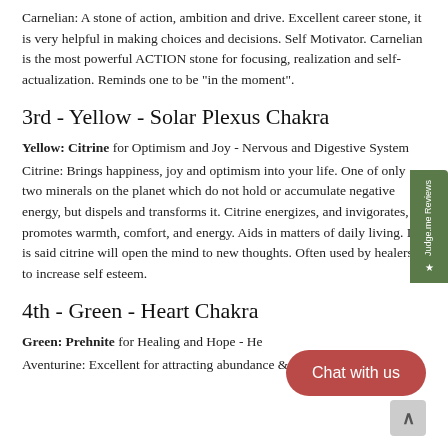Carnelian: A stone of action, ambition and drive. Excellent career stone, it is very helpful in making choices and decisions. Self Motivator. Carnelian is the most powerful ACTION stone for focusing, realization and self-actualization. Reminds one to be "in the moment".
3rd - Yellow - Solar Plexus Chakra
Yellow: Citrine for Optimism and Joy - Nervous and Digestive System
Citrine: Brings happiness, joy and optimism into your life. One of only two minerals on the planet which do not hold or accumulate negative energy, but dispels and transforms it. Citrine energizes, and invigorates, promotes warmth, comfort, and energy. Aids in matters of daily living. It is said citrine will open the mind to new thoughts. Often used by healers to increase self esteem.
4th - Green - Heart Chakra
Green: Prehnite for Healing and Hope - He
Aventurine: Excellent for attracting abundance & wealth. This is